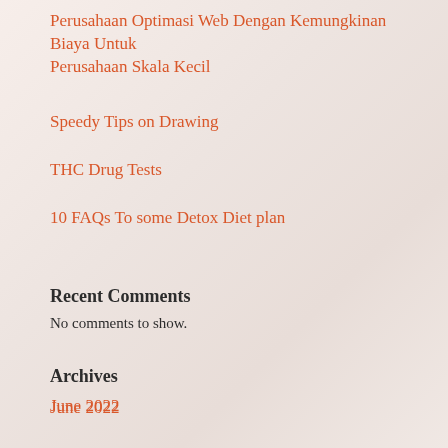Perusahaan Optimasi Web Dengan Kemungkinan Biaya Untuk Perusahaan Skala Kecil
Speedy Tips on Drawing
THC Drug Tests
10 FAQs To some Detox Diet plan
Recent Comments
No comments to show.
Archives
June 2022
January 2022
December 2021
Categories
Blog